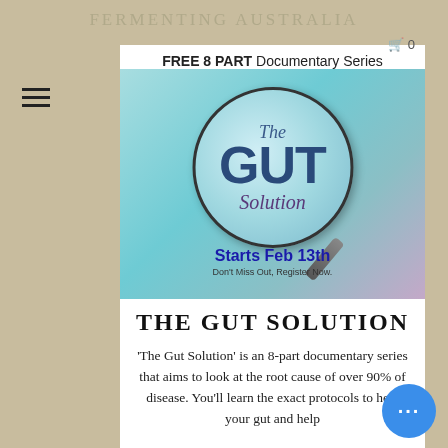Fermenting Australia
[Figure (screenshot): Promotional image for 'The Gut Solution' free 8-part documentary series. Shows a magnifying glass revealing text 'The GUT Solution' against a teal/blue microbe background. Text below reads 'Starts Feb 13th' and 'Don't Miss Out, Register Now.']
THE GUT SOLUTION
'The Gut Solution' is an 8-part documentary series that aims to look at the root cause of over 90% of disease. You'll learn the exact protocols to heal your gut and help